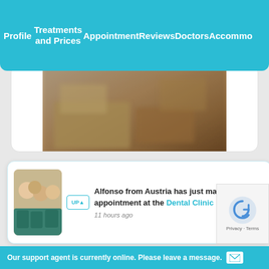Profile  Treatments and Prices  Appointment  Reviews  Doctors  Accommodation
[Figure (photo): Blurred photo of a furnished room interior with a wooden desk/table]
Free Accommodation
This or similar apartments are provided free of charge by our dental clinic for patients who are having major dental procedures - over 1500 euros.
Alfonso from Austria has just made an appointment at the Dental Clinic UP DENT
11 hours ago